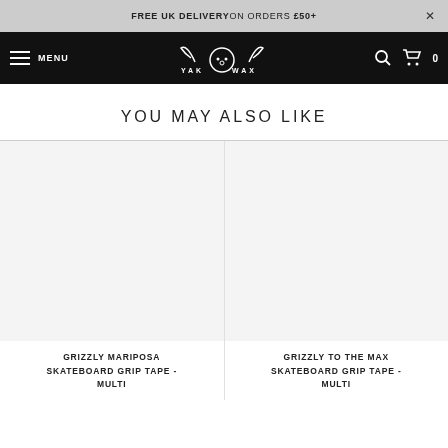FREE UK DELIVERY ON ORDERS £50+
[Figure (logo): YakWax logo with hamburger menu and navigation icons]
YOU MAY ALSO LIKE
GRIZZLY MARIPOSA SKATEBOARD GRIP TAPE - MULTI
GRIZZLY TO THE MAX SKATEBOARD GRIP TAPE - MULTI